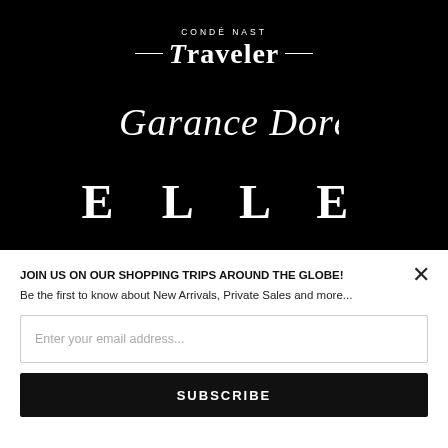[Figure (logo): Condé Nast Traveler logo in white on black background, with horizontal rules flanking the word Traveler in serif italic font]
[Figure (logo): Garance Doré signature logo in white cursive script on black background]
[Figure (logo): ELLE magazine logo in large white serif bold letters with wide letter-spacing on black background]
JOIN US ON OUR SHOPPING TRIPS AROUND THE GLOBE!
Be the first to know about New Arrivals, Private Sales and more...
Enter your email address...
SUBSCRIBE